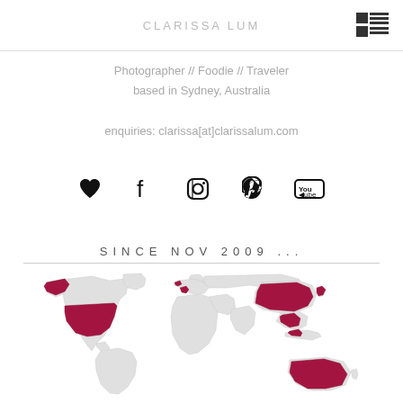clarissa lum
Photographer // Foodie // Traveler
based in Sydney, Australia
enquiries: clarissa[at]clarissalum.com
[Figure (other): Social media icons: heart/Bloglovin, Facebook, Instagram, Pinterest, YouTube]
SINCE NOV 2009 ...
[Figure (map): World map with visited countries highlighted in dark red/crimson, including USA, Alaska, China, Southeast Asian countries, and Australia]